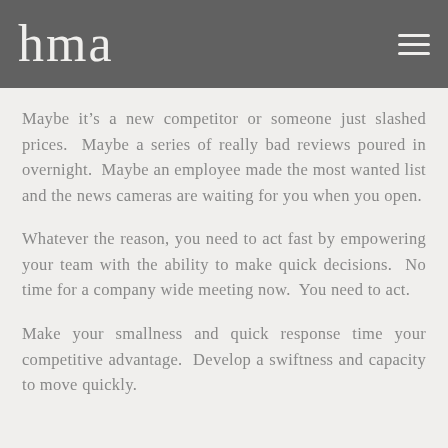hma
Maybe it’s a new competitor or someone just slashed prices.  Maybe a series of really bad reviews poured in overnight.  Maybe an employee made the most wanted list and the news cameras are waiting for you when you open.
Whatever the reason, you need to act fast by empowering your team with the ability to make quick decisions.  No time for a company wide meeting now.  You need to act.
Make your smallness and quick response time your competitive advantage.  Develop a swiftness and capacity to move quickly.